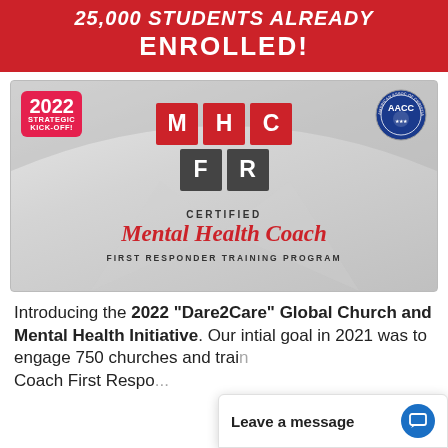25,000 STUDENTS ALREADY ENROLLED!
[Figure (illustration): MHCFR Certified Mental Health Coach First Responder Training Program logo with 2022 Strategic Kick-Off badge and AACC seal]
Introducing the 2022 “Dare2Care” Global Church and Mental Health Initiative. Our intial goal in 2021 was to engage 750 churches and train a Mental Health Coach First Respo...